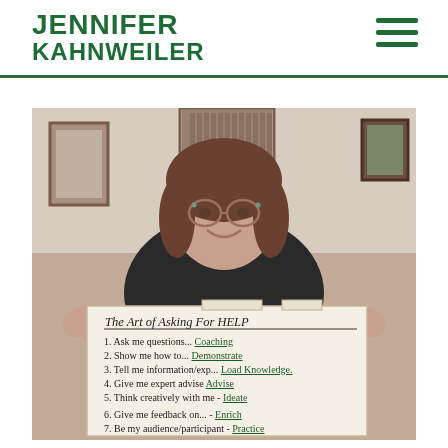JENNIFER KAHNWEILER
[Figure (photo): A woman with brown hair and decorative glasses smiles at the camera while holding up a large handwritten sign titled 'The Art of Asking For HELP' with 7 numbered items listing coaching action types.]